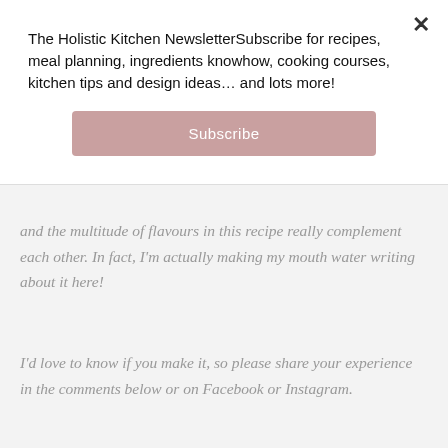The Holistic Kitchen NewsletterSubscribe for recipes, meal planning, ingredients knowhow, cooking courses, kitchen tips and design ideas… and lots more!
Subscribe
and the multitude of flavours in this recipe really complement each other. In fact, I'm actually making my mouth water writing about it here!
I'd love to know if you make it, so please share your experience in the comments below or on Facebook or Instagram.